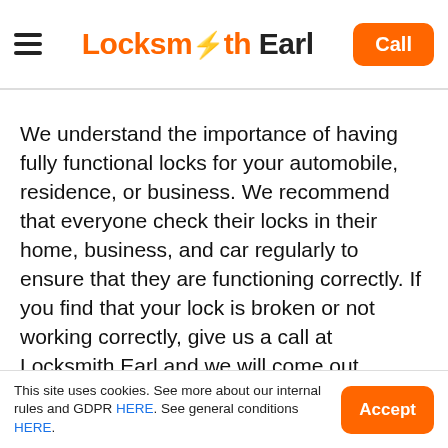Locksmith Earl | Call
We understand the importance of having fully functional locks for your automobile, residence, or business. We recommend that everyone check their locks in their home, business, and car regularly to ensure that they are functioning correctly. If you find that your lock is broken or not working correctly, give us a call at Locksmith Earl and we will come out quickly to ensure you are safe and secure.
Our a bi...
This site uses cookies. See more about our internal rules and GDPR HERE. See general conditions HERE.